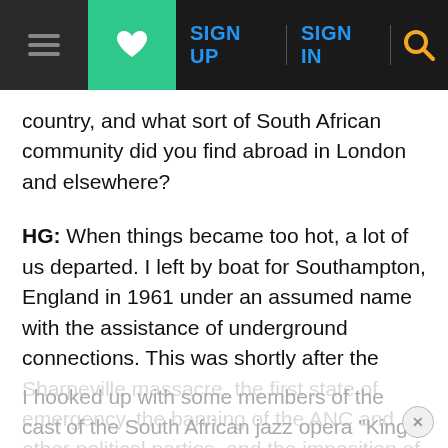≡ [heart] SIGN UP SIGN IN [search]
country, and what sort of South African community did you find abroad in London and elsewhere?
HG: When things became too hot, a lot of us departed. I left by boat for Southampton, England in 1961 under an assumed name with the assistance of underground connections. This was shortly after the Sharpeville massacre, the first state of emergency, the banning of the ANC and other political parties, and the imposition of martial law.
When I arrived in England I headed for London, where I hooked up with some members of the cast of the South African jazz opera "King Kong" that had been